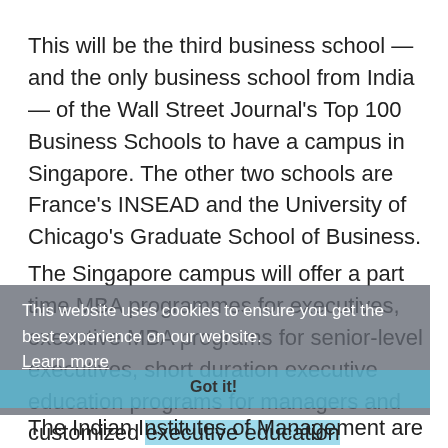This will be the third business school — and the only business school from India — of the Wall Street Journal's Top 100 Business Schools to have a campus in Singapore. The other two schools are France's INSEAD and the University of Chicago's Graduate School of Business.
The Singapore campus will offer a part time MBA programmes for executives, executive MBA programs for senior-level executives, short duration executive education programs for managers and customized executive education programs for companies.
This website uses cookies to ensure you get the best experience on our website. Learn more
Got it!
The Indian Institutes of Management are the